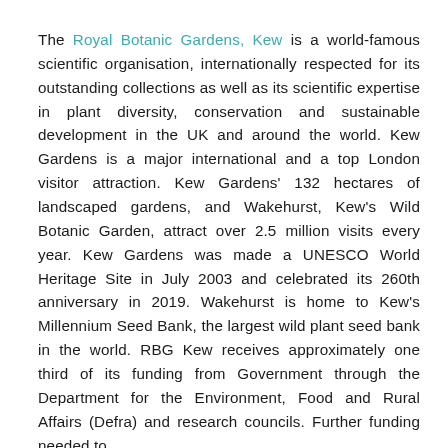The Royal Botanic Gardens, Kew is a world-famous scientific organisation, internationally respected for its outstanding collections as well as its scientific expertise in plant diversity, conservation and sustainable development in the UK and around the world. Kew Gardens is a major international and a top London visitor attraction. Kew Gardens' 132 hectares of landscaped gardens, and Wakehurst, Kew's Wild Botanic Garden, attract over 2.5 million visits every year. Kew Gardens was made a UNESCO World Heritage Site in July 2003 and celebrated its 260th anniversary in 2019. Wakehurst is home to Kew's Millennium Seed Bank, the largest wild plant seed bank in the world. RBG Kew receives approximately one third of its funding from Government through the Department for the Environment, Food and Rural Affairs (Defra) and research councils. Further funding needed to